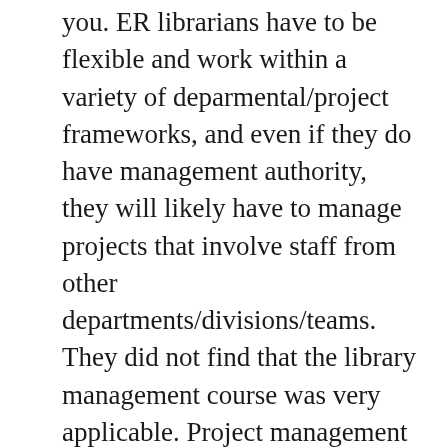you. ER librarians have to be flexible and work within a variety of deparmental/project frameworks, and even if they do have management authority, they will likely have to manage projects that involve staff from other departments/divisions/teams. They did not find that the library management course was very applicable. Project management class was much more useful. One main challenge is staff who have worked in the library for a long time, and change management or leadership training would be very valuable, as well as conversations about working with unionized staff.
In the real world being aware of trends in the